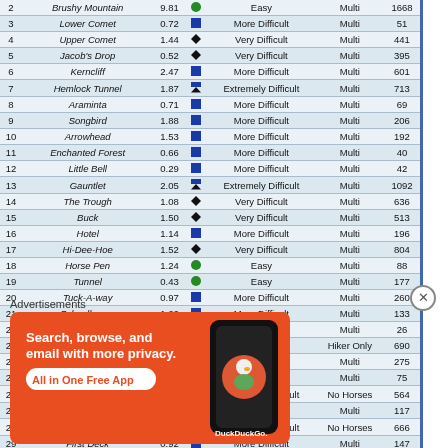| # | Trail Name | Miles | Difficulty Icon | Difficulty | Use | Elevation |
| --- | --- | --- | --- | --- | --- | --- |
| 2 | Brushy Mountain | 9.81 | Easy | Easy | Multi | 1668 |
| 3 | Lower Comet | 0.72 | More Difficult | More Difficult | Multi | 51 |
| 4 | Upper Comet | 1.44 | Very Difficult | Very Difficult | Multi | 441 |
| 5 | Jacob's Drop | 0.52 | Very Difficult | Very Difficult | Multi | 395 |
| 6 | Kerncliff | 2.47 | More Difficult | More Difficult | Multi | 601 |
| 7 | Hemlock Tunnel | 1.87 | Extremely Difficult | Extremely Difficult | Multi | 713 |
| 8 | Araminta | 0.71 | More Difficult | More Difficult | Multi | 69 |
| 9 | Songbird | 1.88 | More Difficult | More Difficult | Multi | 206 |
| 10 | Arrowhead | 1.53 | More Difficult | More Difficult | Multi | 192 |
| 11 | Enchanted Forest | 0.66 | More Difficult | More Difficult | Multi | 40 |
| 12 | Little Bell | 0.29 | More Difficult | More Difficult | Multi | 42 |
| 13 | Gauntlet | 2.05 | Extremely Difficult | Extremely Difficult | Multi | 1092 |
| 14 | The Trough | 1.08 | Very Difficult | Very Difficult | Multi | 636 |
| 15 | Buck | 1.50 | Very Difficult | Very Difficult | Multi | 513 |
| 16 | Hotel | 1.14 | More Difficult | More Difficult | Multi | 196 |
| 17 | Hi-Dee-Hoe | 1.52 | Very Difficult | Very Difficult | Multi | 804 |
| 18 | Horse Pen | 1.24 | Easy | Easy | Multi | 88 |
| 19 | Tunnel | 0.43 | Easy | Easy | Multi | 177 |
| 20 | Tuck-A-way | 0.97 | More Difficult | More Difficult | Multi | 260 |
| 21 | Schoolhouse | 1.62 | More Difficult | More Difficult | Multi | 133 |
| 22 | Riley Circle | 0.34 | Easy | Easy | Multi | 26 |
| 23 | Sawmill Branch | 1.17 | More Difficult | More Difficult | Hiker Only | 690 |
| 24 | Four Gorge | 2.13 | More Difficult | More Difficult | Multi | 275 |
| 25 | Four Gorge Extension | 0.69 | More Difficult | More Difficult | Multi | 75 |
| 26 | Rattlin' Run | 2.28 | Extremely Difficult | Extremely Difficult | No Horses | 564 |
| 27 | Bennett Springs Loop | 0.83 | Easy | Easy | Multi | 117 |
| 28 | Royalty | 0.80 | Extremely Difficult | Extremely Difficult | No Horses | 666 |
| 29 | First Deck | 0.92 | More Difficult | More Difficult | Multi | 147 |
| 30 | OG | 0.55 | Very Difficult | Very Difficult | Bikes Only | 339 |
Advertisements
[Figure (screenshot): DuckDuckGo advertisement banner with orange background. Text reads: Search, browse, and email with more privacy. All in One Free App. Shows a smartphone with DuckDuckGo logo.]